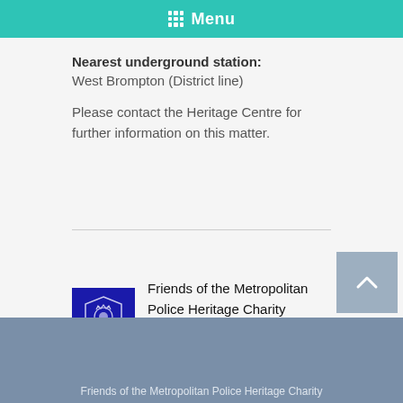Menu
Nearest underground station:
West Brompton (District line)
Please contact the Heritage Centre for further information on this matter.
[Figure (logo): FOMPHC badge logo — Friends of the Metropolitan Police Heritage Charity crest on dark blue background]
Friends of the Metropolitan Police Heritage Charity
Registered Charity No: 1167839
Friends of the Metropolitan Police Heritage Charity